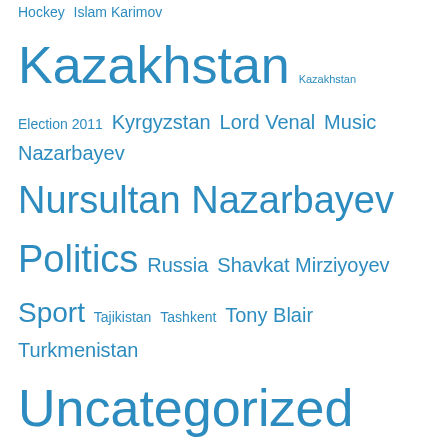Hockey  Islam Karimov  Kazakhstan  Kazakhstan
Election 2011  Kyrgyzstan  Lord Venal  Music  Nazarbayev
Nursultan Nazarbayev  Politics  Russia  Shavkat Mirziyoyev
Sport  Tajikistan  Tashkent  Tony Blair  Turkmenistan
Uncategorized  Uzbekistan
Archives
Select Month
Privacy & Cookies: This site uses cookies. By continuing to use this website, you agree to their use.
To find out more, including how to control cookies, see here: Cookie Policy
Close and accept